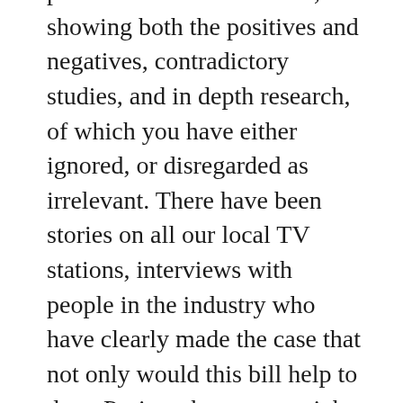provided has been done so, showing both the positives and negatives, contradictory studies, and in depth research, of which you have either ignored, or disregarded as irrelevant. There have been stories on all our local TV stations, interviews with people in the industry who have clearly made the case that not only would this bill help to draw Projects here, create jobs and increase money flow into the state, it would also help to level the playing field with Oregon and Vancouver, B.C. who do offer incentives to production companies. That is why Leverage, Grimm, and other current programs and films have not chosen Washington as the location for their productions.